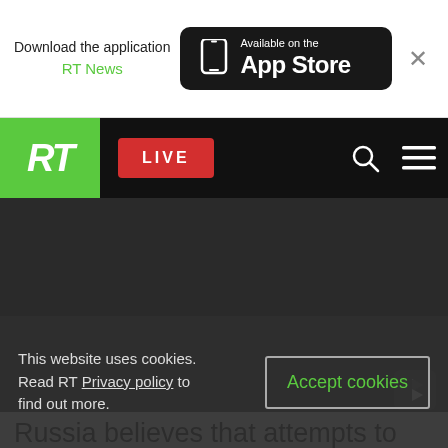[Figure (screenshot): App banner: Download the application RT News - Available on the App Store]
[Figure (screenshot): RT website navigation bar with green RT logo, red LIVE button, search and menu icons on dark background]
[Figure (screenshot): Video player showing 'Video unavailable - This video is not available in your country' error message with YouTube icon]
Russia believes that attempts to undermine the
This website uses cookies. Read RT Privacy policy to find out more.
Accept cookies